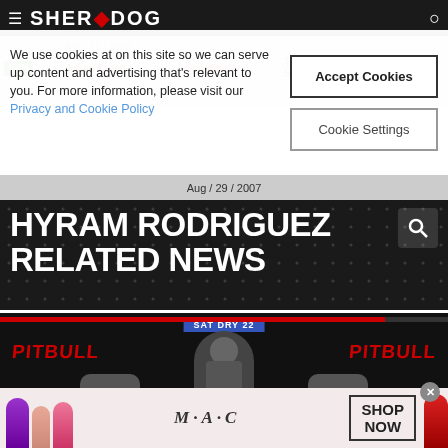[Figure (screenshot): Sherdog MMA website navigation bar with hamburger menu and logo]
We use cookies at on this site so we can serve up content and advertising that's relevant to you. For more information, please visit our Privacy and Cookie Policy
Accept Cookies
Cookie Settings
WIN  Johan Croes  Standing A  TKO (Doctor Stoppage)  1  5:00
Aug / 29 / 2007
HYRAM RODRIGUEZ RELATED NEWS
[Figure (photo): MMA fighter at weigh-in or press conference with PITBULL branding visible on both sides, SAT DRY 22 text overlay at top]
[Figure (photo): MAC cosmetics advertisement showing colorful lipsticks with SHOP NOW button]